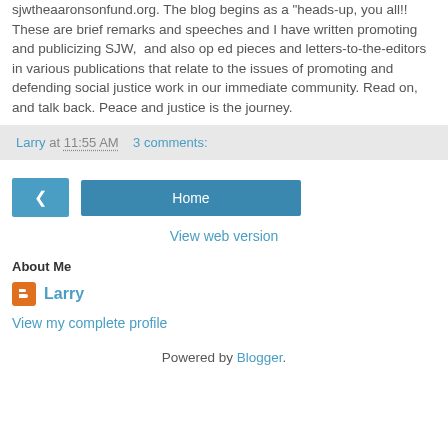sjwtheaaronsonfund.org. The blog begins as a "heads-up, you all!! These are brief remarks and speeches and I have written promoting and publicizing SJW, and also op ed pieces and letters-to-the-editors in various publications that relate to the issues of promoting and defending social justice work in our immediate community. Read on, and talk back. Peace and justice is the journey.
Larry at 11:55 AM   3 comments:
< Home View web version
About Me
Larry
View my complete profile
Powered by Blogger.